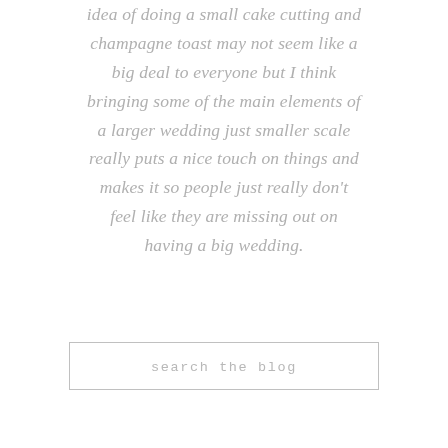idea of doing a small cake cutting and champagne toast may not seem like a big deal to everyone but I think bringing some of the main elements of a larger wedding just smaller scale really puts a nice touch on things and makes it so people just really don't feel like they are missing out on having a big wedding.
search the blog